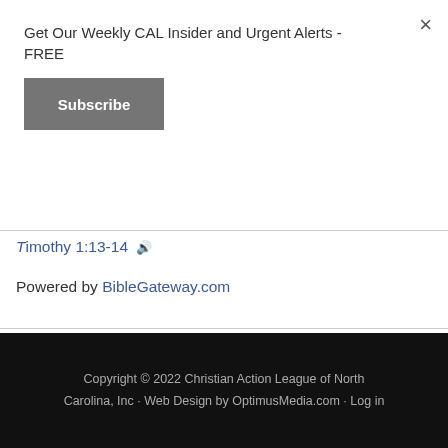Get Our Weekly CAL Insider and Urgent Alerts - FREE
Subscribe
Timothy 1:13-14
Powered by BibleGateway.com
Copyright © 2022 Christian Action League of North Carolina, Inc · Web Design by OptimusMedia.com · Log in